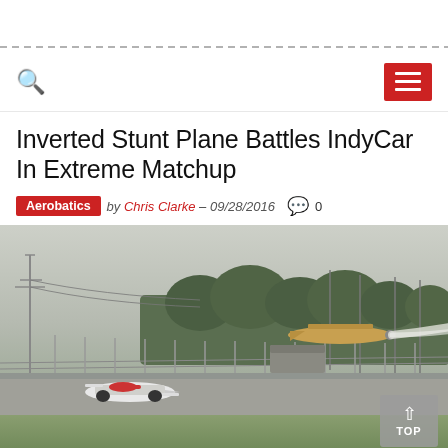Inverted Stunt Plane Battles IndyCar In Extreme Matchup
Aerobatics  by Chris Clarke – 09/28/2016  0
[Figure (photo): An inverted stunt plane flies low over a racing circuit track alongside an IndyCar racing car, with smoke trail visible behind the plane. The setting is a motor racing circuit with green grass infield, fence barriers, utility poles, and trees in the background.]